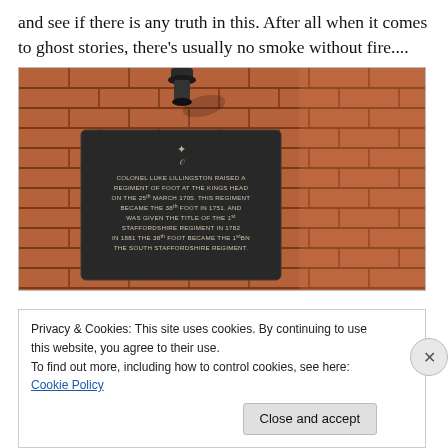and see if there is any truth in this. After all when it comes to ghost stories, there's usually no smoke without fire....
[Figure (photo): Photograph of a dark metal heritage plaque mounted on a red brick wall. The plaque bears an emblem and text reading: COLONEL LUKE LILLINGSTON RAISED A REGIMENT OF FOOT AT THE KINGS HEAD ON THE 25th MARCH 1705. THIS REGIMENT BECAME THE 38th FOOT IN 1751 AND WAS GIVEN THE TITLE OF THE 1st STAFFORDSHIRE REGIMENT IN 1782. IN 1881 THE 38th FOOT BECAME THE 1st BN THE SOUTH STAFFORDSHIRE REGIMENT. A spotlight fixture is mounted above the plaque on the wall.]
Privacy & Cookies: This site uses cookies. By continuing to use this website, you agree to their use.
To find out more, including how to control cookies, see here: Cookie Policy